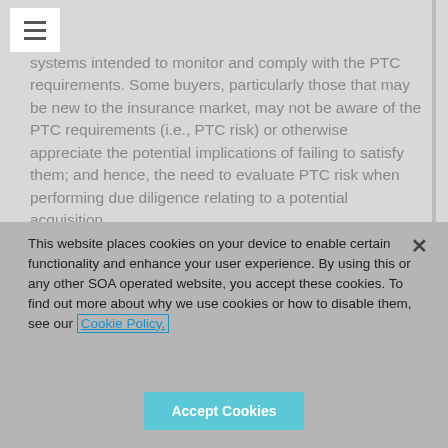systems intended to monitor and comply with the PTC requirements. Some buyers, particularly those that may be new to the insurance market, may not be aware of the PTC requirements (i.e., PTC risk) or otherwise appreciate the potential implications of failing to satisfy them; and hence, the need to evaluate PTC risk when performing due diligence relating to a potential acquisition.
This website places cookies on your device to enable certain functionality and enhance your user experience. By using this or any other SOA operated website, you accept these cookies. To find out more about why we use cookies or how to disable them, see our Cookie Policy.